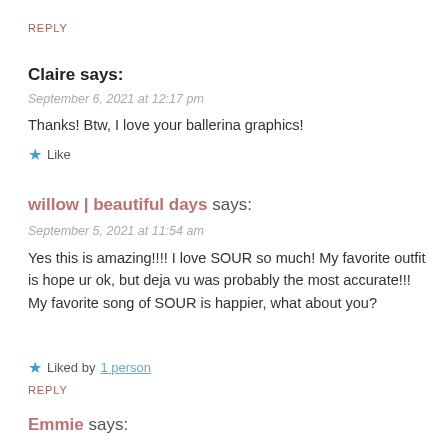REPLY
Claire says:
September 6, 2021 at 12:17 pm
Thanks! Btw, I love your ballerina graphics!
Like
willow | beautiful days says:
September 5, 2021 at 11:54 am
Yes this is amazing!!!! I love SOUR so much! My favorite outfit is hope ur ok, but deja vu was probably the most accurate!!! My favorite song of SOUR is happier, what about you?
Liked by 1 person
REPLY
Emmie says: